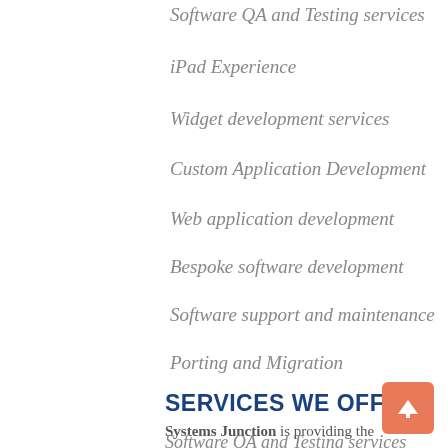Software QA and Testing services
iPad Experience
Widget development services
Custom Application Development
Web application development
Bespoke software development
Software support and maintenance
Porting and Migration
SERVICES WE OFFER
Systems Junction is providing the following services to the users and clients:
Software QA and Testing services